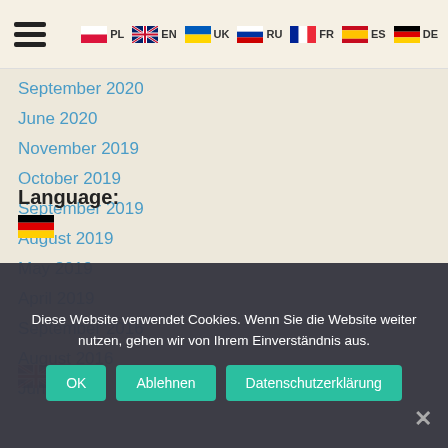≡  PL  EN  UK  RU  FR  ES  DE
September 2020
June 2020
November 2019
October 2019
September 2019
August 2019
May 2019
April 2019
September 2016
August 2016
June 2016
Language:
Diese Website verwendet Cookies. Wenn Sie die Website weiter nutzen, gehen wir von Ihrem Einverständnis aus.
OK  Ablehnen  Datenschutzerklärung